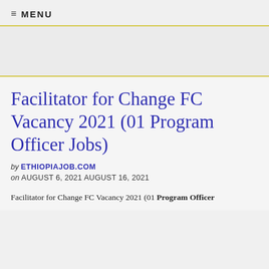≡ MENU
Facilitator for Change FC Vacancy 2021 (01 Program Officer Jobs)
by ETHIOPIAJOB.COM
on AUGUST 6, 2021 AUGUST 16, 2021
Facilitator for Change FC Vacancy 2021 (01 Program Officer